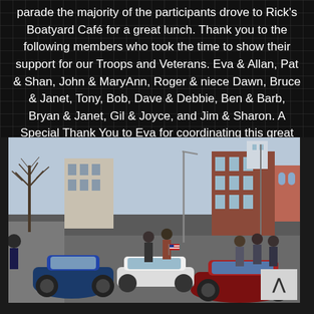parade the majority of the participants drove to Rick's Boatyard Café for a great lunch. Thank you to the following members who took the time to show their support for our Troops and Veterans. Eva & Allan, Pat & Shan, John & MaryAnn, Roger & niece Dawn, Bruce & Janet, Tony, Bob, Dave & Debbie, Ben & Barb, Bryan & Janet, Gil & Joyce, and Jim & Sharon. A Special Thank You to Eva for coordinating this great event for the club.
[Figure (photo): Outdoor street scene showing a Veterans parade with sports cars (blue Corvette, red Corvette, white Corvette) lined up along a city street. People are standing and walking alongside the cars. Buildings are visible in the background including a brick building on the right and taller structures in the distance. Bare winter trees are visible on the left side. The scene appears to be a Veterans Day or similar patriotic parade event.]